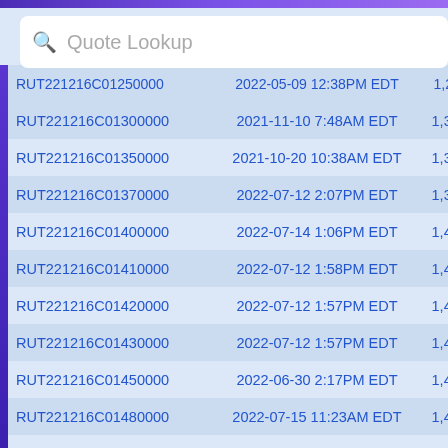Quote Lookup
| Contract | Last Trade Date | Strike |
| --- | --- | --- |
| RUT221216C01250000 | 2022-05-09 12:38PM EDT | 1,250.00 |
| RUT221216C01300000 | 2021-11-10 7:48AM EDT | 1,300.00 |
| RUT221216C01350000 | 2021-10-20 10:38AM EDT | 1,350.00 |
| RUT221216C01370000 | 2022-07-12 2:07PM EDT | 1,370.00 |
| RUT221216C01400000 | 2022-07-14 1:06PM EDT | 1,400.00 |
| RUT221216C01410000 | 2022-07-12 1:58PM EDT | 1,410.00 |
| RUT221216C01420000 | 2022-07-12 1:57PM EDT | 1,420.00 |
| RUT221216C01430000 | 2022-07-12 1:57PM EDT | 1,430.00 |
| RUT221216C01450000 | 2022-06-30 2:17PM EDT | 1,450.00 |
| RUT221216C01480000 | 2022-07-15 11:23AM EDT | 1,480.00 |
| RUT221216C01500000 | 2022-08-24 3:14PM EDT | 1,500.00 |
| RUT221216C01550000 | 2021-12-30 10:30AM EDT | 1,550.00 |
| RUT221216C01580000 | 2022-07-26 11:46AM EDT | 1,580.00 |